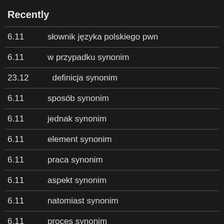Recently
6.11	słownik języka polskiego pwn
6.11	w przypadku synonim
23.12	definicja synonim
6.11	sposób synonim
6.11	jednak synonim
6.11	element synonim
6.11	praca synonim
6.11	aspekt synonim
6.11	natomiast synonim
6.11	proces synonim